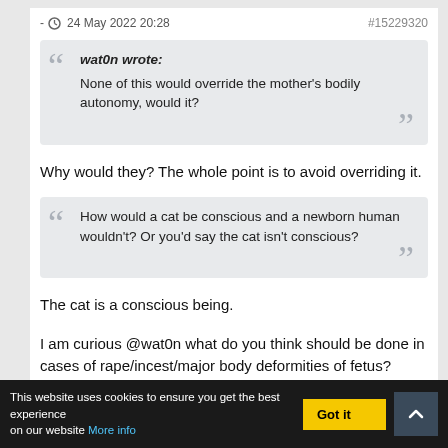- 24 May 2022 20:28   #15229320
wat0n wrote:
None of this would override the mother's bodily autonomy, would it?
Why would they? The whole point is to avoid overriding it.
How would a cat be conscious and a newborn human wouldn't? Or you'd say the cat isn't conscious?
The cat is a conscious being.
I am curious @wat0n what do you think should be done in cases of rape/incest/major body deformities of fetus?
This website uses cookies to ensure you get the best experience on our website More info   Got it